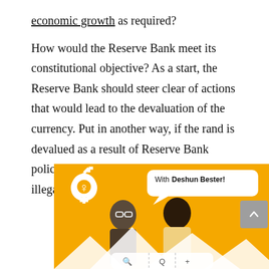economic growth as required?

How would the Reserve Bank meet its constitutional objective? As a start, the Reserve Bank should steer clear of actions that would lead to the devaluation of the currency. Put in another way, if the rand is devalued as a result of Reserve Bank policy, the SARB would be acting illegally.
[Figure (illustration): An orange/yellow promotional banner image showing two women (one with glasses, one smiling) with a speech bubble saying 'With Deshun Bester!' and a gender symbol icon in the top left corner with mountain silhouettes at the bottom.]